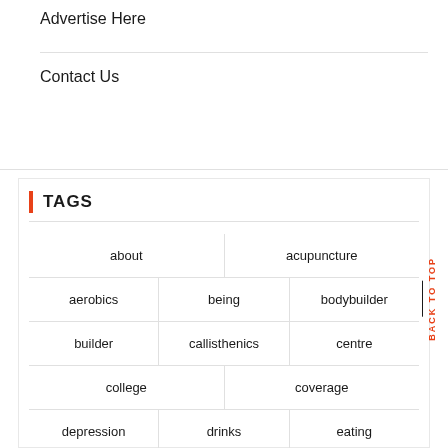Advertise Here
Contact Us
TAGS
about
acupuncture
aerobics
being
bodybuilder
builder
callisthenics
centre
college
coverage
depression
drinks
eating